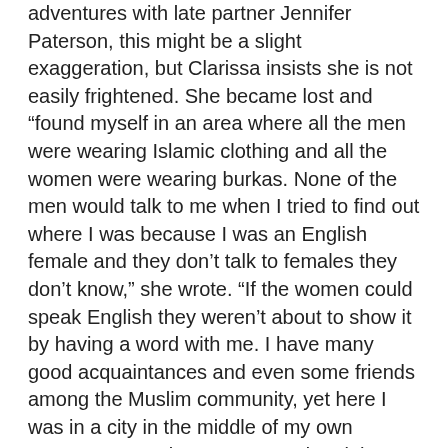adventures with late partner Jennifer Paterson, this might be a slight exaggeration, but Clarissa insists she is not easily frightened. She became lost and “found myself in an area where all the men were wearing Islamic clothing and all the women were wearing burkas. None of the men would talk to me when I tried to find out where I was because I was an English female and they don’t talk to females they don’t know,” she wrote. “If the women could speak English they weren’t about to show it by having a word with me. I have many good acquaintances and even some friends among the Muslim community, yet here I was in a city in the middle of my own country, a complete outcast and pariah.”
Thousands upon thousands of Muslims are, of course, cheerfully and enthusiastically assimilating in British society. Yet, predictably, she has been denounced by the Muslim Council of Britain for smearing all two million co-devotees. I am writing about this incident because it coincides with a row stoked over David Cameron’s choice of Aussie polling guru Lynton Crosby to help him win the next election. Mr Crosby was accused yesterday of an alleged foul-mouthed rant against London’s “******* Muslims”. Aussies are renowned for colourful language but, as I say, criticism of any race or